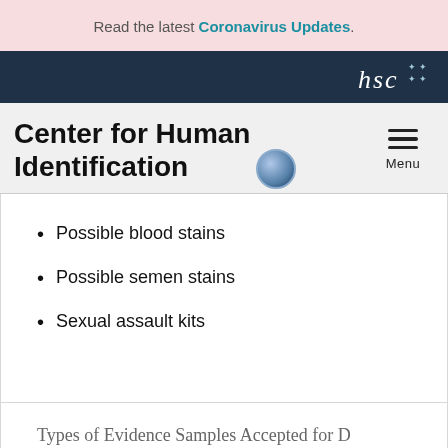Read the latest Coronavirus Updates.
[Figure (logo): HSC logo with dots on dark navy navbar]
Center for Human Identification
Possible blood stains
Possible semen stains
Sexual assault kits
Types of Evidence Samples Accepted for D